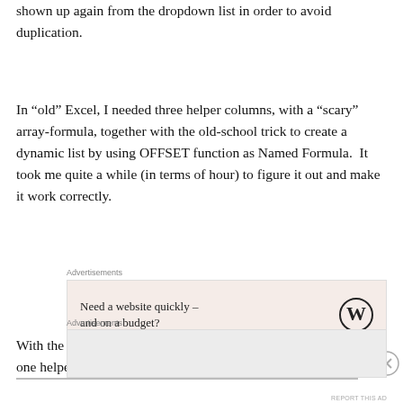Once a person is assigned to a group, s/he should not be shown up again from the dropdown list in order to avoid duplication.
In “old” Excel, I needed three helper columns, with a “scary” array-formula, together with the old-school trick to create a dynamic list by using OFFSET function as Named Formula.  It took me quite a while (in terms of hour) to figure it out and make it work correctly.
[Figure (other): Advertisement banner: 'Need a website quickly – and on a budget?' with WordPress logo]
With the new Dynamic Arrays in Excel 365, I need only one helper column with simple MATCH function…
[Figure (other): Bottom advertisement banner area (empty/loading)]